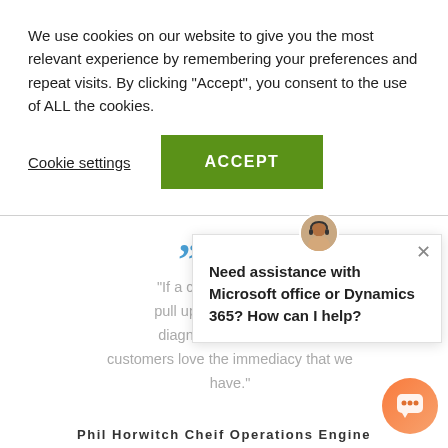We use cookies on our website to give you the most relevant experience by remembering your preferences and repeat visits. By clicking "Accept", you consent to the use of ALL the cookies.
Cookie settings
ACCEPT
“If a custom their syste pull up their and quickly diagnose problems fro customers love the immediacy that we have.”
[Figure (screenshot): Chat popup widget with avatar of a person wearing a headset, close button (X), and message text: Need assistance with Microsoft office or Dynamics 365? How can I help?]
Phil Horwitch Cheif Operations Engine